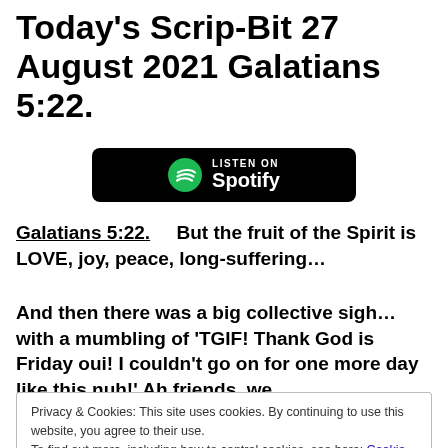Today's Scrip-Bit 27 August 2021 Galatians 5:22.
[Figure (logo): Listen on Spotify button with Spotify logo]
Galatians 5:22.     But the fruit of the Spirit is LOVE, joy, peace, long-suffering…
And then there was a big collective sigh…with a mumbling of 'TGIF! Thank God is Friday oui! I couldn't go on for one more day like this nuh!' Ah friends, we
Privacy & Cookies: This site uses cookies. By continuing to use this website, you agree to their use.
To find out more, including how to control cookies, see here: Cookie Policy